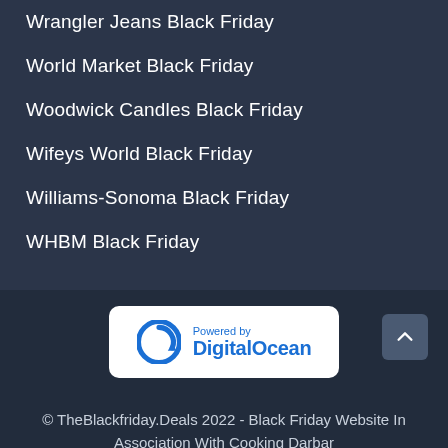Wrangler Jeans Black Friday
World Market Black Friday
Woodwick Candles Black Friday
Wifeys World Black Friday
Williams-Sonoma Black Friday
WHBM Black Friday
[Figure (logo): Powered by DigitalOcean logo badge with blue circular arrow icon]
© TheBlackfriday.Deals 2022 - Black Friday Website In Association With Cooking Darbar
TheBlackFriday.Deals Is A Participant In The